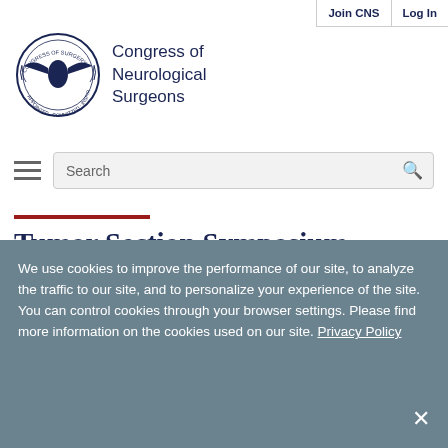Join CNS | Log In
[Figure (logo): Congress of Neurological Surgeons circular emblem logo with stylized bird/wings motif]
Congress of Neurological Surgeons
Tumor Section Symposium Health & Safety Measures
We use cookies to improve the performance of our site, to analyze the traffic to our site, and to personalize your experience of the site. You can control cookies through your browser settings. Please find more information on the cookies used on our site. Privacy Policy